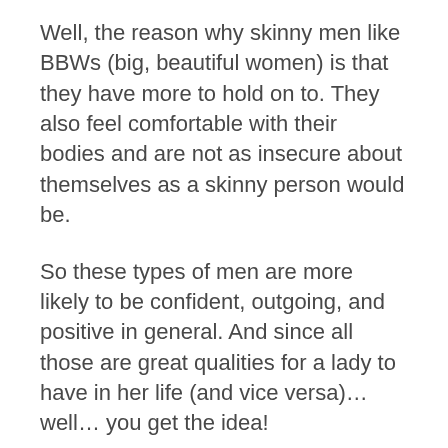Well, the reason why skinny men like BBWs (big, beautiful women) is that they have more to hold on to. They also feel comfortable with their bodies and are not as insecure about themselves as a skinny person would be.
So these types of men are more likely to be confident, outgoing, and positive in general. And since all those are great qualities for a lady to have in her life (and vice versa)… well… you get the idea!
Do any Christian men like BBW?
There are some Christian men who like